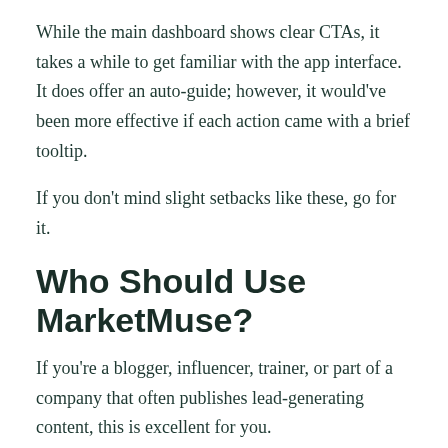While the main dashboard shows clear CTAs, it takes a while to get familiar with the app interface. It does offer an auto-guide; however, it would've been more effective if each action came with a brief tooltip.
If you don't mind slight setbacks like these, go for it.
Who Should Use MarketMuse?
If you're a blogger, influencer, trainer, or part of a company that often publishes lead-generating content, this is excellent for you.
That said, as it is expensive, MarketMuse is best suited for only well-established brands who are already